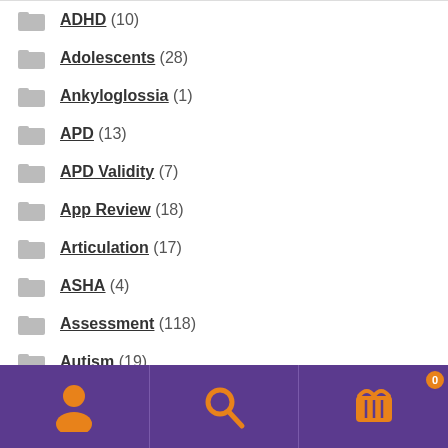ADHD (10)
Adolescents (28)
Ankyloglossia (1)
APD (13)
APD Validity (7)
App Review (18)
Articulation (17)
ASHA (4)
Assessment (118)
Autism (19)
behavior strategies (14)
[Figure (other): Purple bottom navigation bar with three orange icons: person/account icon, search/magnifying glass icon, and shopping basket icon with orange badge showing '0']